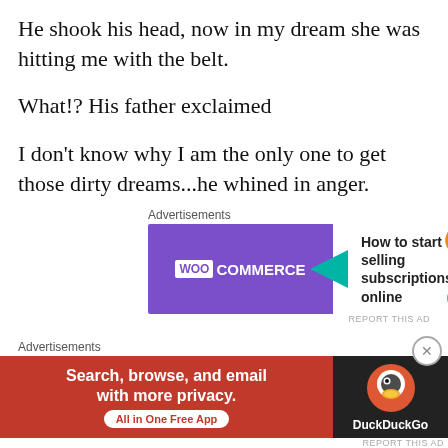He shook his head, now in my dream she was hitting me with the belt.
What!? His father exclaimed
I don't know why I am the only one to get those dirty dreams...he whined in anger.
[Figure (other): WooCommerce advertisement banner: purple left section with WooCommerce logo, white right section with teal arrow graphic, orange and blue decorative shapes, text 'How to start selling subscriptions online']
Leave it son... now relax and go back to sleep. Dadi softly wiped his sweaty forehead pecking his head. He nodded sipping the glass of cold
[Figure (other): DuckDuckGo advertisement banner: red left section with text 'Search, browse, and email with more privacy. All in One Free App', dark right section with DuckDuckGo logo]